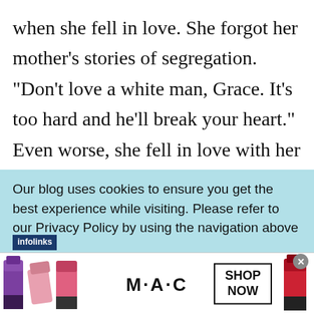when she fell in love. She forgot her mother's stories of segregation. “Don’t love a white man, Grace. It’s too hard and he’ll break your heart.” Even worse, she fell in love with her best friend’s husband, Peter. I WILL ALWAYS LOVE YOU is a poignant
Our blog uses cookies to ensure you get the best experience while visiting. Please refer to our Privacy Policy by using the navigation above
[Figure (photo): MAC Cosmetics advertisement banner showing multiple lipsticks in purple, pink, and red colors alongside the M·A·C logo and a SHOP NOW button]